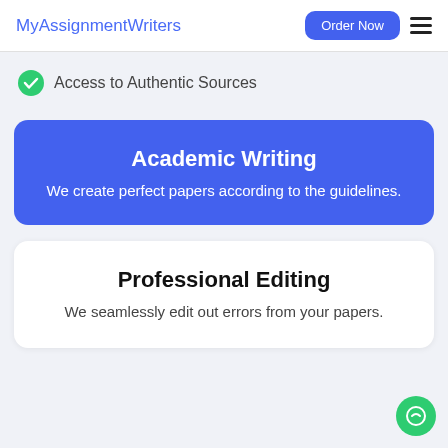MyAssignmentWriters | Order Now
Access to Authentic Sources
Academic Writing
We create perfect papers according to the guidelines.
Professional Editing
We seamlessly edit out errors from your papers.